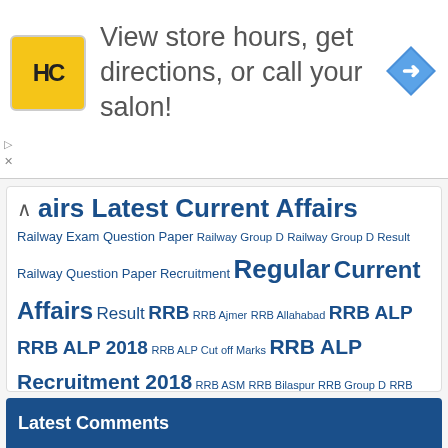[Figure (screenshot): Advertisement banner with HC logo, text 'View store hours, get directions, or call your salon!' and a navigation arrow icon]
airs Latest Current Affairs
Railway Exam Question Paper Railway Group D Railway Group D Result Railway Question Paper Recruitment Regular Current Affairs Result RRB RRB Ajmer RRB Allahabad RRB ALP RRB ALP 2018 RRB ALP Cut off Marks RRB ALP Recruitment 2018 RRB ASM RRB Bilaspur RRB Group D RRB Group D Application Status RRB Group D Cut off RRB JE RRB NTPC RRB Question Paper RRB Question Paper ALP RRB Result RRB Result 2018 RRB SSE SSC SSC CGL SSC CHSL 2017 SSC CHSL 2017 Admit Card SSC CHSL 2017 Admit Card Download SSC CHSL Admit Card SSC CPO SI 2018 SSC GD Constable SSC GD Constable 2018 SSC MTS Syllabus UPSC
Latest Comments